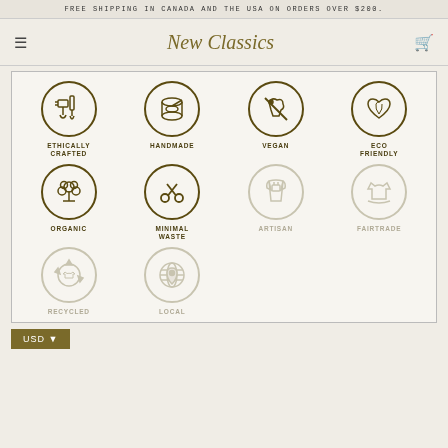FREE SHIPPING IN CANADA AND THE USA ON ORDERS OVER $200.
New Classics
[Figure (infographic): Grid of product attribute icons: Ethically Crafted (hands with tools), Handmade (thread spool), Vegan (animal with cross), Eco Friendly (heart with leaf), Organic (cotton plant), Minimal Waste (scissors), Artisan (apron, greyed out), Fairtrade (shirt on hand, greyed out), Recycled (recycling arrows with shirt, greyed out), Local (globe with pin, greyed out)]